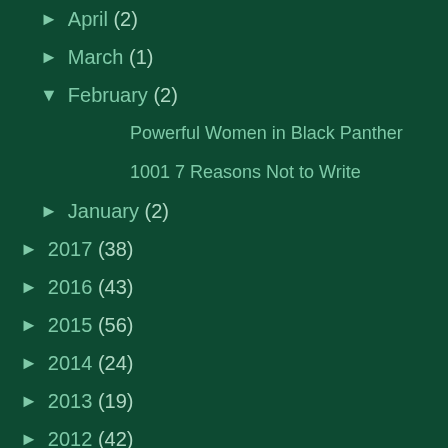► April (2)
► March (1)
▼ February (2)
Powerful Women in Black Panther
1001 7 Reasons Not to Write
► January (2)
► 2017 (38)
► 2016 (43)
► 2015 (56)
► 2014 (24)
► 2013 (19)
► 2012 (42)
► 2011 (51)
► 2010 (27)
7. Because all t... depleted. To the... more shit flung ... the iPad or watc... own head.
***NOTE: I unde... bunch of little, ra... it feels like a lot... past my own pe...
Posted by Alexa...
Labels: cats, cle... spoons, will, win...
Newer Posts